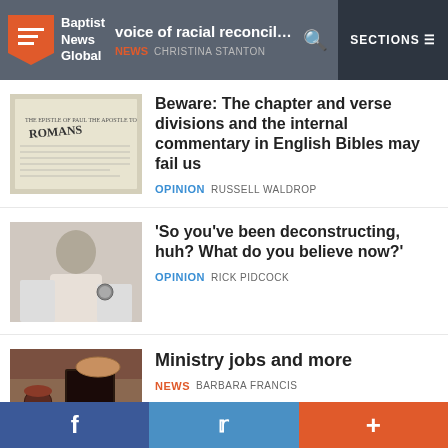Baptist News Global — voice of racial reconciliation — NEWS CHRISTINA STANTON — SECTIONS
[Figure (photo): Close-up of a Bible open to Romans, with text visible]
Beware: The chapter and verse divisions and the internal commentary in English Bibles may fail us
OPINION RUSSELL WALDROP
[Figure (photo): Middle-aged man in white shirt looking at his watch]
'So you've been deconstructing, huh? What do you believe now?'
OPINION RICK PIDCOCK
[Figure (photo): Communion bread and wine on a table with a Bible]
Ministry jobs and more
NEWS BARBARA FRANCIS